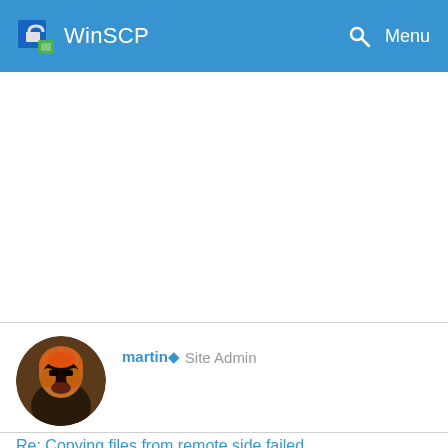WinSCP  Menu
[Figure (photo): Circular avatar image of site admin 'martin', showing a figure with orange and dark coloring]
martin◆ Site Admin
Re: Copying files from remote side failed